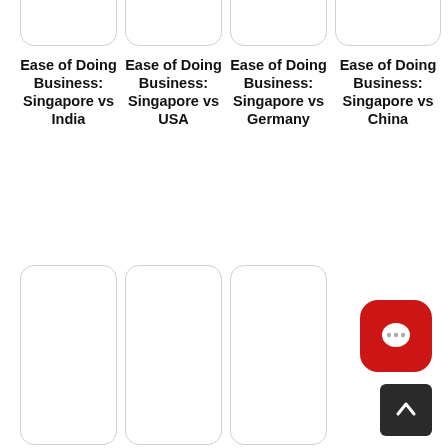[Figure (illustration): Card placeholder top row 1]
Ease of Doing Business: Singapore vs India
[Figure (illustration): Card placeholder top row 2]
Ease of Doing Business: Singapore vs USA
[Figure (illustration): Card placeholder top row 3]
Ease of Doing Business: Singapore vs Germany
[Figure (illustration): Card placeholder top row 4]
Ease of Doing Business: Singapore vs China
[Figure (illustration): Card placeholder bottom row 1]
[Figure (illustration): Card placeholder bottom row 2]
[Figure (illustration): Card placeholder bottom row 3]